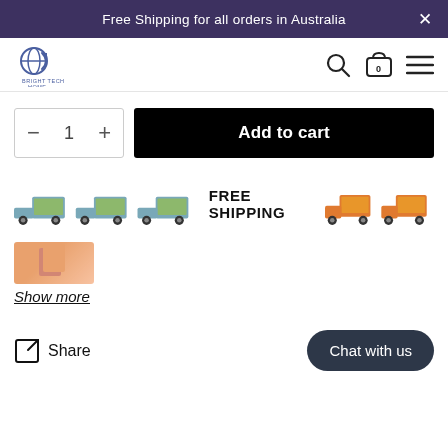Free Shipping for all orders in Australia
[Figure (logo): Bright Tech Home logo — circular globe/arrow icon with text]
Add to cart
[Figure (illustration): Three green cargo trucks and two orange cargo trucks with FREE SHIPPING text]
Show more
Share
Chat with us